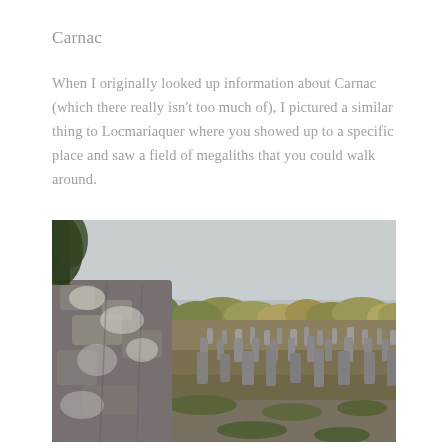Carnac
When I originally looked up information about Carnac (which there really isn't too much of), I pictured a similar thing to Locmariaquer where you showed up to a specific place and saw a field of megaliths that you could walk around.
[Figure (photo): Photograph of the Carnac stones megalithic site. In the foreground is a large lichen-covered standing stone. In the background, rows of smaller standing stones recede into the distance across a grassy field. Autumn-colored trees line the horizon under an overcast grey sky.]